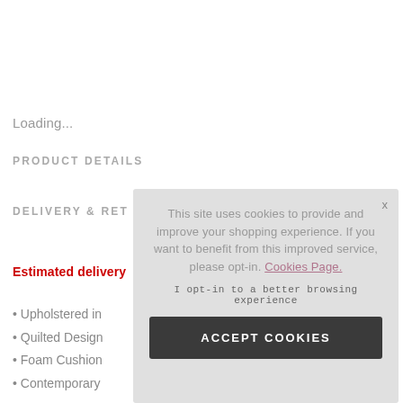Loading...
PRODUCT DETAILS
DELIVERY & RET
Estimated delivery
Upholstered in
Quilted Design
Foam Cushion
Contemporary
This site uses cookies to provide and improve your shopping experience. If you want to benefit from this improved service, please opt-in. Cookies Page.
I opt-in to a better browsing experience
ACCEPT COOKIES